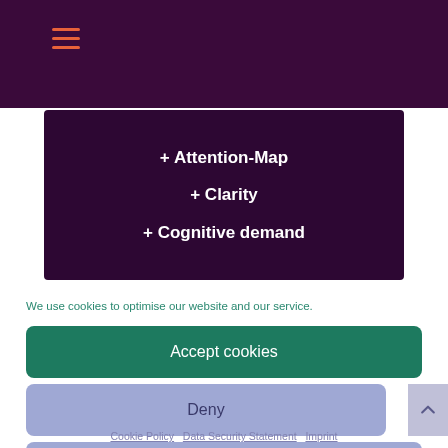≡ (hamburger menu icon)
[Figure (screenshot): Dark purple panel showing three lines: '+ Attention-Map', '+ Clarity', '+ Cognitive demand' in white bold text]
We use cookies to optimise our website and our service.
Accept cookies
Deny
View preferences
Cookie Policy   Data Security Statement   Imprint